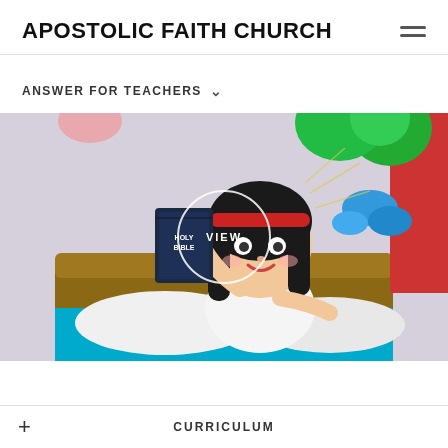APOSTOLIC FAITH CHURCH
ANSWER FOR TEACHERS
[Figure (illustration): Cartoon illustration of a young girl with dark hair and red headband sitting in bed holding a Holy Bible, with colorful dream clouds in the background showing trees and nature. A circular 'VIEW' overlay button is centered on the image.]
CURRICULUM